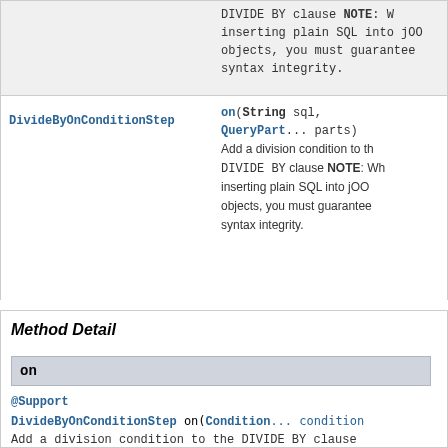| Type | Method and Description |
| --- | --- |
|  | DIVIDE BY clause NOTE: When inserting plain SQL into jOOQ objects, you must guarantee syntax integrity. |
| DivideByOnConditionStep | on(String sql, QueryPart... parts)
Add a division condition to the DIVIDE BY clause NOTE: When inserting plain SQL into jOOQ objects, you must guarantee syntax integrity. |
Method Detail
on
@Support
DivideByOnConditionStep on(Condition... condition
Add a division condition to the DIVIDE BY clause